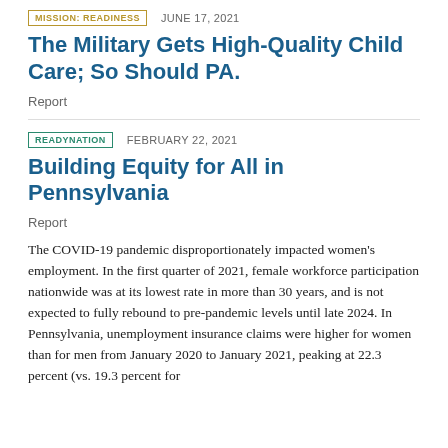MISSION: READINESS   JUNE 17, 2021
The Military Gets High-Quality Child Care; So Should PA.
Report
READYNATION   FEBRUARY 22, 2021
Building Equity for All in Pennsylvania
Report
The COVID-19 pandemic disproportionately impacted women's employment. In the first quarter of 2021, female workforce participation nationwide was at its lowest rate in more than 30 years, and is not expected to fully rebound to pre-pandemic levels until late 2024. In Pennsylvania, unemployment insurance claims were higher for women than for men from January 2020 to January 2021, peaking at 22.3 percent (vs. 19.3 percent for…